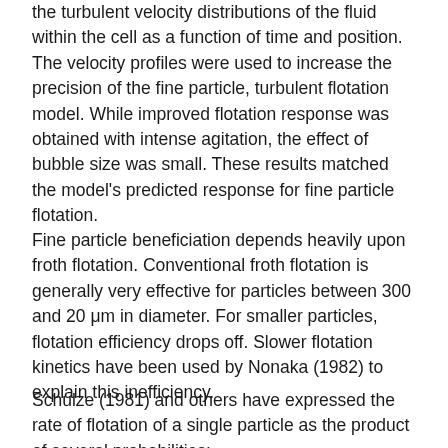the turbulent velocity distributions of the fluid within the cell as a function of time and position. The velocity profiles were used to increase the precision of the fine particle, turbulent flotation model. While improved flotation response was obtained with intense agitation, the effect of bubble size was small. These results matched the model's predicted response for fine particle flotation.
Fine particle beneficiation depends heavily upon froth flotation. Conventional froth flotation is generally very effective for particles between 300 and 20 μm in diameter. For smaller particles, flotation efficiency drops off. Slower flotation kinetics have been used by Nonaka (1982) to explain this inefficiency.
Schulze (1981) and others have expressed the rate of flotation of a single particle as the product of several probabilities: